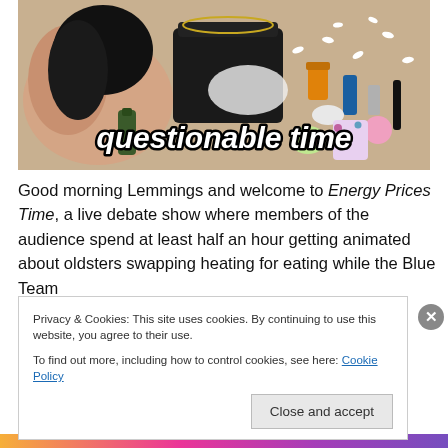[Figure (photo): Photo of a woman lying on the floor with a handbag and scattered items (pills, bottles, accessories). Text overlay reads 'questionable time' in white italic script with black outline.]
Good morning Lemmings and welcome to Energy Prices Time, a live debate show where members of the audience spend at least half an hour getting animated about oldsters swapping heating for eating while the Blue Team
Privacy & Cookies: This site uses cookies. By continuing to use this website, you agree to their use.
To find out more, including how to control cookies, see here: Cookie Policy
Close and accept